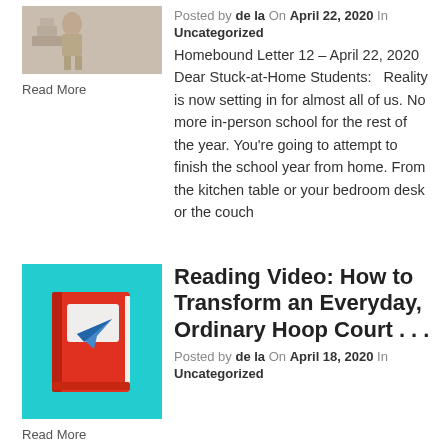[Figure (photo): Thumbnail photo of a person with stacked blocks or similar objects, muted beige/tan tones]
Read More
Posted by de la On April 22, 2020 In Uncategorized
Homebound Letter 12 – April 22, 2020   Dear Stuck-at-Home Students:   Reality is now setting in for almost all of us. No more in-person school for the rest of the year. You're going to attempt to finish the school year from home. From the kitchen table or your bedroom desk or the couch
[Figure (photo): Red book with white paper airplane graphic on teal/cyan background]
Read More
Reading Video: How to Transform an Everyday, Ordinary Hoop Court . . .
Posted by de la On April 18, 2020 In Uncategorized